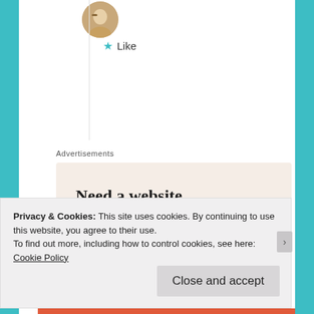[Figure (photo): Avatar/profile photo circle at top of page showing a person in warm-toned clothing]
★ Like
Advertisements
[Figure (illustration): Advertisement banner with beige/cream background. Headline: 'Need a website quickly – and on a budget?' Subtext: 'Let us build it for you'. Button: 'Let's get started'. Circular photo of person typing on laptop.]
Privacy & Cookies: This site uses cookies. By continuing to use this website, you agree to their use.
To find out more, including how to control cookies, see here: Cookie Policy
Close and accept